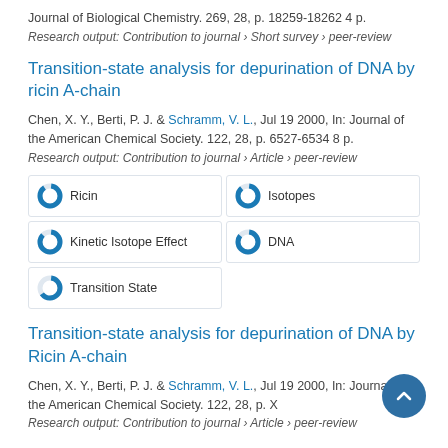Journal of Biological Chemistry. 269, 28, p. 18259-18262 4 p.
Research output: Contribution to journal › Short survey › peer-review
Transition-state analysis for depurination of DNA by ricin A-chain
Chen, X. Y., Berti, P. J. & Schramm, V. L., Jul 19 2000, In: Journal of the American Chemical Society. 122, 28, p. 6527-6534 8 p.
Research output: Contribution to journal › Article › peer-review
Ricin
Isotopes
Kinetic Isotope Effect
DNA
Transition State
Transition-state analysis for depurination of DNA by Ricin A-chain
Chen, X. Y., Berti, P. J. & Schramm, V. L., Jul 19 2000, In: Journal of the American Chemical Society. 122, 28, p. X
Research output: Contribution to journal › Article › peer-review